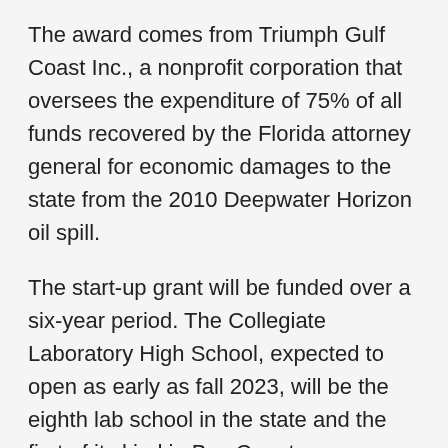The award comes from Triumph Gulf Coast Inc., a nonprofit corporation that oversees the expenditure of 75% of all funds recovered by the Florida attorney general for economic damages to the state from the 2010 Deepwater Horizon oil spill.
The start-up grant will be funded over a six-year period. The Collegiate Laboratory High School, expected to open as early as fall 2023, will be the eighth lab school in the state and the first of its kind in Bay County.
“We are grateful for our partnership with Triumph Gulf Coast and the investment in our area students,” said Randy Hanna, dean of FSU Panama City. “The Collegiate Laboratory High School will provide students from Bay and Gulf counties the opportunity to engage in experiential learning with experts in a chosen field”